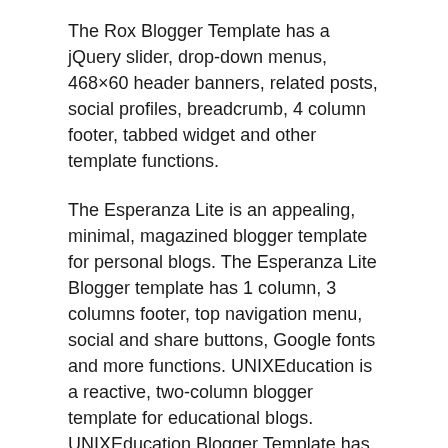The Rox Blogger Template has a jQuery slider, drop-down menus, 468×60 header banners, related posts, social profiles, breadcrumb, 4 column footer, tabbed widget and other template functions.
The Esperanza Lite is an appealing, minimal, magazined blogger template for personal blogs. The Esperanza Lite Blogger template has 1 column, 3 columns footer, top navigation menu, social and share buttons, Google fonts and more functions. UNIXEducation is a reactive, two-column blogger template for educational blogs. UNIXEducation Blogger Template has a jQuery slider, drop-down menus, header menu, associated posts, breadcrumb, 3 columns footer, tabbed widget, social profiles and more apps.
FitnessWorld is a reactive, 3-column blogger template for fitness or health blogs. The FitWorld Blogger Template has a jQuery slider, drop-down menus, 468×60 header banners, related posts, breadcrumb, 4 column footers, social profiles, Google fonts, tabbed widget and other functions. Cranberry is a single-column, minimal, magazine- and responsive blogger template.